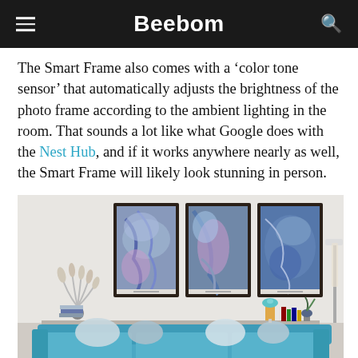Beebom
The Smart Frame also comes with a ‘color tone sensor’ that automatically adjusts the brightness of the photo frame according to the ambient lighting in the room. That sounds a lot like what Google does with the Nest Hub, and if it works anywhere nearly as well, the Smart Frame will likely look stunning in person.
[Figure (photo): Three abstract art frames with blue/purple marble-style artwork hanging on a light grey wall above a teal/blue sofa in a living room setting, with decorative items on shelves flanking the frames.]